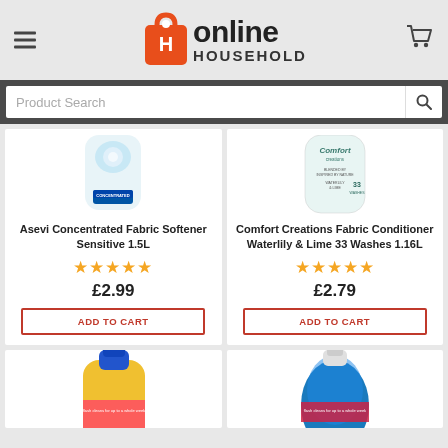[Figure (logo): Online Household logo with shopping bag icon, red and dark text]
[Figure (screenshot): Product search bar with search icon on dark background]
Asevi Concentrated Fabric Softener Sensitive 1.5L
★★★★★
£2.99
ADD TO CART
Comfort Creations Fabric Conditioner Waterlily & Lime 33 Washes 1.16L
★★★★★
£2.79
ADD TO CART
[Figure (photo): Partial view of yellow liquid cleaning product bottle with blue cap]
[Figure (photo): Partial view of blue cleaning product bottle]